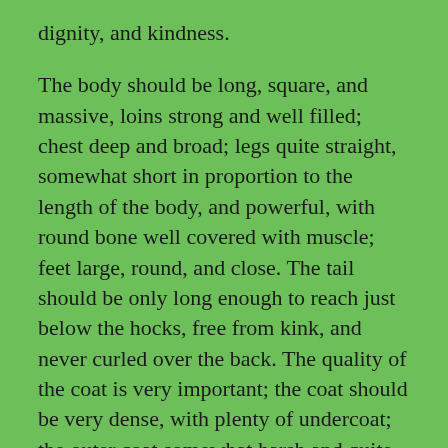dignity, and kindness.
The body should be long, square, and massive, loins strong and well filled; chest deep and broad; legs quite straight, somewhat short in proportion to the length of the body, and powerful, with round bone well covered with muscle; feet large, round, and close. The tail should be only long enough to reach just below the hocks, free from kink, and never curled over the back. The quality of the coat is very important; the coat should be very dense, with plenty of undercoat; the outer coat somewhat harsh and quite straight.
The appearance generally should indicate a dog